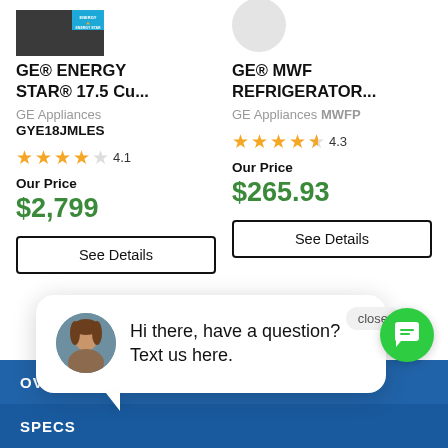[Figure (photo): GE refrigerator product image (dark/graphite) with ENERGY STAR badge, partially cropped at top]
GE® ENERGY STAR® 17.5 Cu...
GE Appliances
GYE18JMLES
4.1 stars
Our Price
$2,799
See Details
[Figure (photo): GE MWF water filter product image (white/round), partially cropped at top]
GE® MWF REFRIGERATOR...
GE Appliances MWFP
4.3 stars
Our Price
$265.93
See Details
[Figure (photo): Chat popup with avatar photo of a woman and message: Hi there, have a question? Text us here.]
Hi there, have a question? Text us here.
close
OVERVIEW
SPECS